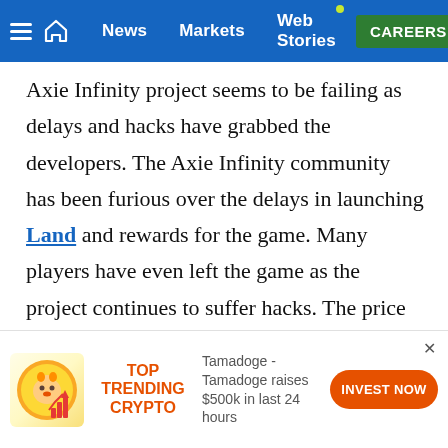Navigation bar: hamburger menu, home, News, Markets, Web Stories, CAREERS
Axie Infinity project seems to be failing as delays and hacks have grabbed the developers. The Axie Infinity community has been furious over the delays in launching Land and rewards for the game. Many players have even left the game as the project continues to suffer hacks. The price of AXS tokens has also dived from a high of $160 to $20 in just 6 months.
[Figure (infographic): Bottom advertisement banner: Tamadoge coin logo with bar chart icon, 'TOP TRENDING CRYPTO' label in orange, description text 'Tamadoge - Tamadoge raises $500k in last 24 hours', and an orange 'INVEST NOW' rounded button. Close X button in top right.]